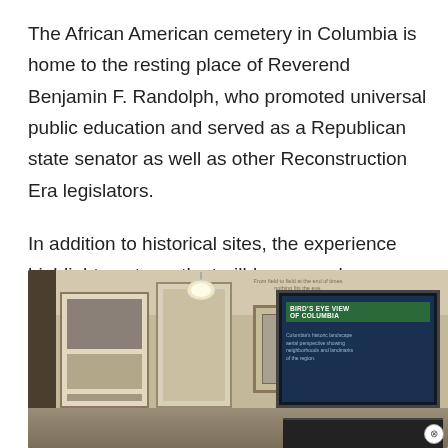The African American cemetery in Columbia is home to the resting place of Reverend Benjamin F. Randolph, who promoted universal public education and served as a Republican state senator as well as other Reconstruction Era legislators.
In addition to historical sites, the experience highlights noteworthy trailblazers such as Clarissa Minnie Thompson, Mack Johnson, Robert Brown Elliot and the Rollins sisters.
[Figure (photo): Interior of a museum exhibit displaying panels and screens about Columbia's African American history, including a 'Bird's Eye View of Columbia' display on a large screen to the right.]